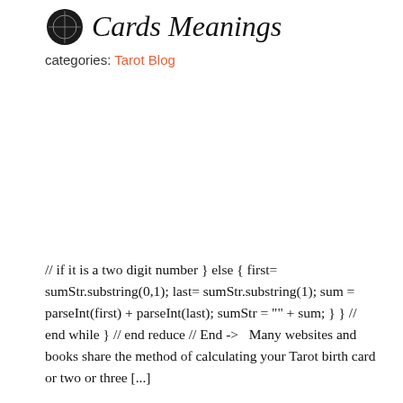Cards Meanings
categories: Tarot Blog
// if it is a two digit number } else { first= sumStr.substring(0,1); last= sumStr.substring(1); sum = parseInt(first) + parseInt(last); sumStr = "" + sum; } } // end while } // end reduce // End ->   Many websites and books share the method of calculating your Tarot birth card or two or three [...]